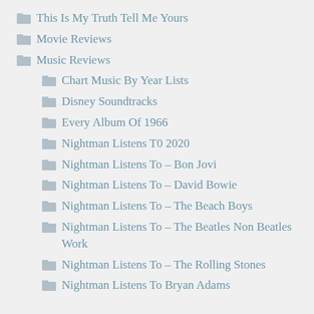This Is My Truth Tell Me Yours
Movie Reviews
Music Reviews
Chart Music By Year Lists
Disney Soundtracks
Every Album Of 1966
Nightman Listens T0 2020
Nightman Listens To – Bon Jovi
Nightman Listens To – David Bowie
Nightman Listens To – The Beach Boys
Nightman Listens To – The Beatles Non Beatles Work
Nightman Listens To – The Rolling Stones
Nightman Listens To Bryan Adams